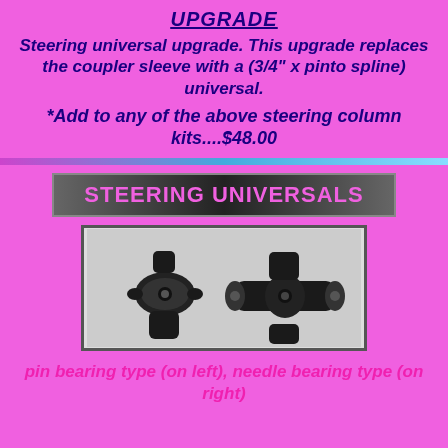UPGRADE
Steering universal upgrade. This upgrade replaces the coupler sleeve with a (3/4" x pinto spline) universal.
*Add to any of the above steering column kits....$48.00
STEERING UNIVERSALS
[Figure (photo): Two steering universal joints — pin bearing type on the left and needle bearing type on the right, both black metal components.]
pin bearing type (on left), needle bearing type (on right)